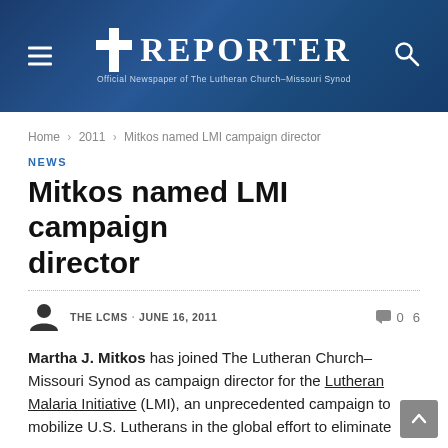REPORTER — Official Newspaper of The Lutheran Church–Missouri Synod
Home › 2011 › Mitkos named LMI campaign director
NEWS
Mitkos named LMI campaign director
THE LCMS · JUNE 16, 2011    💬 0   6
Martha J. Mitkos has joined The Lutheran Church–Missouri Synod as campaign director for the Lutheran Malaria Initiative (LMI), an unprecedented campaign to mobilize U.S. Lutherans in the global effort to eliminate